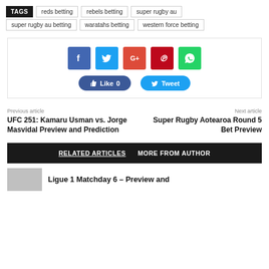TAGS  reds betting  rebels betting  super rugby au  super rugby au betting  waratahs betting  western force betting
[Figure (other): Social media sharing buttons: Facebook, Twitter, Google+, Pinterest, WhatsApp icons, and Like 0 and Tweet buttons]
Previous article
UFC 251: Kamaru Usman vs. Jorge Masvidal Preview and Prediction
Next article
Super Rugby Aotearoa Round 5 Bet Preview
RELATED ARTICLES   MORE FROM AUTHOR
Ligue 1 Matchday 6 – Preview and